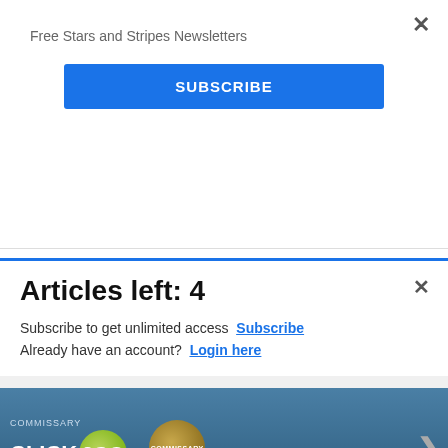Free Stars and Stripes Newsletters
SUBSCRIBE
ALLOWAY: 1/59 festival, celebrating poet Robert Burns, Jan. 25-29.
LERWICK: Up Helly Aa, touted as Europe’s largest fire festival, Jan. 31.
[Figure (advertisement): Commissary Click2Go advertisement banner with logo and text 'order groceries']
Articles left: 4
Subscribe to get unlimited access Subscribe Already have an account? Login here